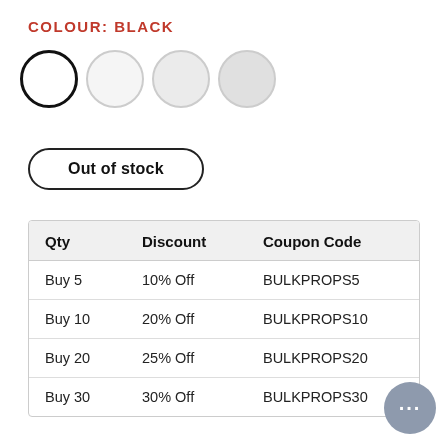COLOUR: BLACK
[Figure (other): Four colour swatch circles: first circle selected with dark border (black), three lighter grey circles]
Out of stock
| Qty | Discount | Coupon Code |
| --- | --- | --- |
| Buy 5 | 10% Off | BULKPROPS5 |
| Buy 10 | 20% Off | BULKPROPS10 |
| Buy 20 | 25% Off | BULKPROPS20 |
| Buy 30 | 30% Off | BULKPROPS30 |